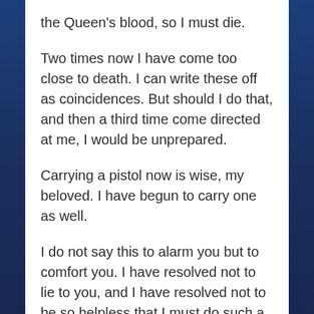the Queen's blood, so I must die.
Two times now I have come too close to death. I can write these off as coincidences. But should I do that, and then a third time come directed at me, I would be unprepared.
Carrying a pistol now is wise, my beloved. I have begun to carry one as well.
I do not say this to alarm you but to comfort you. I have resolved not to lie to you, and I have resolved not to be so helpless that I must do such a thing. I am